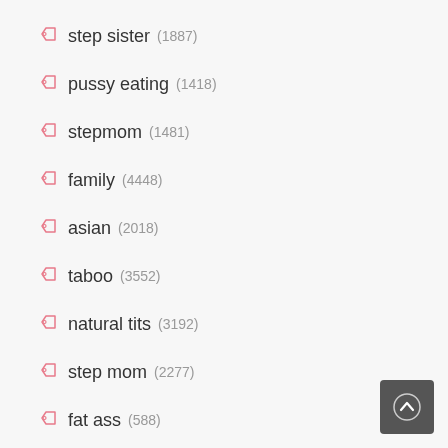step sister (1887)
pussy eating (1418)
stepmom (1481)
family (4448)
asian (2018)
taboo (3552)
natural tits (3192)
step mom (2277)
fat ass (588)